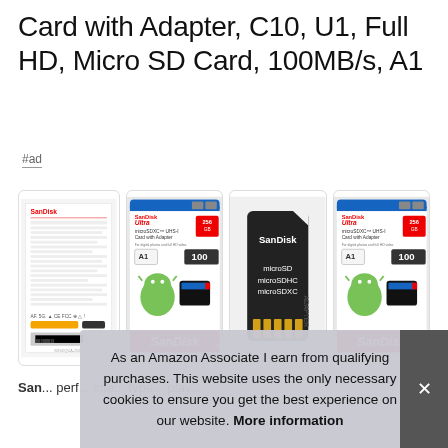Card with Adapter, C10, U1, Full HD, Micro SD Card, 100MB/s, A1
#ad
[Figure (photo): Four product images of SanDisk Ultra microSDXC card with adapter 256GB: back of package, front of package with Android logo, SD adapter card, and front of package again]
SanDisk ... performance ... intelligent ... type ... play
As an Amazon Associate I earn from qualifying purchases. This website uses the only necessary cookies to ensure you get the best experience on our website. More information